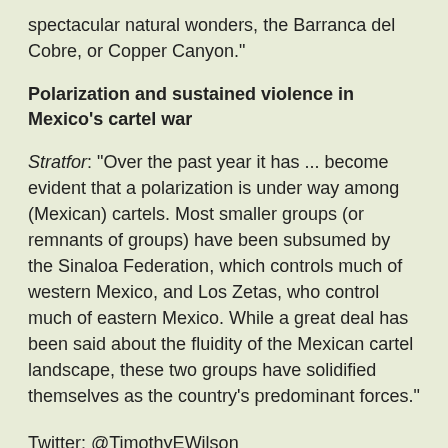spectacular natural wonders, the Barranca del Cobre, or Copper Canyon."
Polarization and sustained violence in Mexico's cartel war
Stratfor: "Over the past year it has ... become evident that a polarization is under way among (Mexican) cartels. Most smaller groups (or remnants of groups) have been subsumed by the Sinaloa Federation, which controls much of western Mexico, and Los Zetas, who control much of eastern Mexico. While a great deal has been said about the fluidity of the Mexican cartel landscape, these two groups have solidified themselves as the country's predominant forces."
Twitter: @TimothyEWilson
Email: lapoliticaeslapolitica [at] gmail [dot] com
Also, if you have read this far, perhaps you would support our efforts? We do this for free. Supporting La politica es la